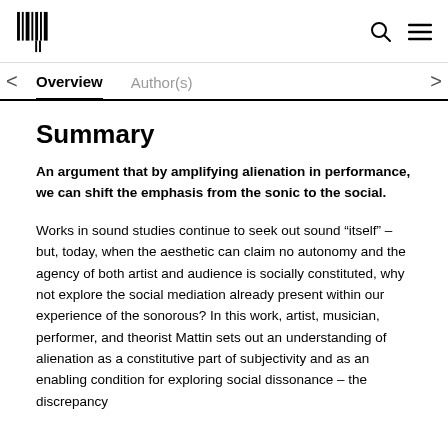[Logo] [Search icon] [Menu icon]
Overview  Author(s)
Summary
An argument that by amplifying alienation in performance, we can shift the emphasis from the sonic to the social.
Works in sound studies continue to seek out sound “itself” – but, today, when the aesthetic can claim no autonomy and the agency of both artist and audience is socially constituted, why not explore the social mediation already present within our experience of the sonorous? In this work, artist, musician, performer, and theorist Mattin sets out an understanding of alienation as a constitutive part of subjectivity and as an enabling condition for exploring social dissonance – the discrepancy